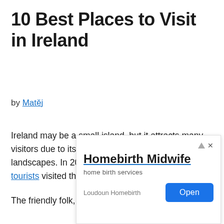10 Best Places to Visit in Ireland
by Matěj
Ireland may be a small island, but it attracts many visitors due to its rich history and picturesque landscapes. In 2018, a record-breaking 11.2 million tourists visited the Republic of Ireland.
The friendly folk, vibrant music, and medieval castles ... unimp... nd charm... yoast...
[Figure (other): Advertisement overlay for 'Homebirth Midwife' showing home birth services by Loudoun Homebirth with an Open button]